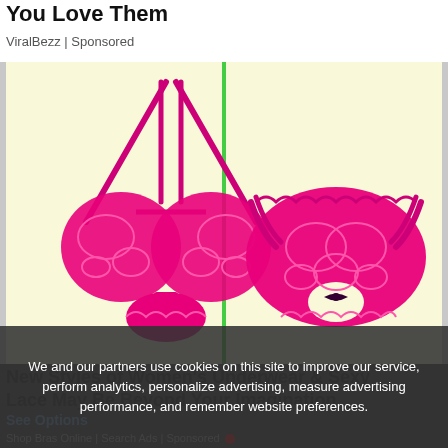You Love Them
ViralBezz | Sponsored
[Figure (illustration): Two hot pink lace lingerie items on a pale yellow background split by a green vertical line: left side shows a lacy bralette with strappy design, right side shows lacy bikini underwear with a small bow]
New Styles of Women's Underwear & Sexy Lace May Be Beyond Your Imagination
See Options
Shop Bras Online | Search Ads | Sponsored
We and our partners use cookies on this site to improve our service, perform analytics, personalize advertising, measure advertising performance, and remember website preferences.